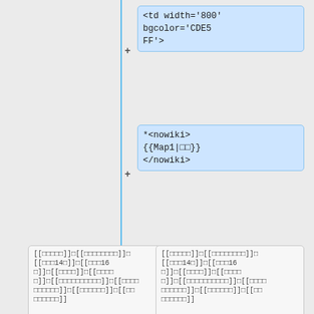[Figure (screenshot): Diff view showing code changes in a wiki/HTML template. Blue highlighted boxes show added lines (marked with +): '<td width=\'800\' bgcolor=\'CDE5FF\'>', '*<nowiki>{{Map1|□□}}</nowiki>', text blocks with wiki link syntax, '<br><br></td>', '<td width=\'100\' bgcolor=\'CDE5FF\'>□□</td>', '</tr>'. Gray boxes show unchanged context lines with wiki link markup.]